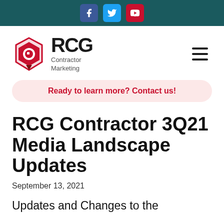Social media links bar (Facebook, Twitter, YouTube)
[Figure (logo): RCG Contractor Marketing logo with hexagon icon and hamburger menu]
Ready to learn more? Contact us!
RCG Contractor 3Q21 Media Landscape Updates
September 13, 2021
Updates and Changes to the